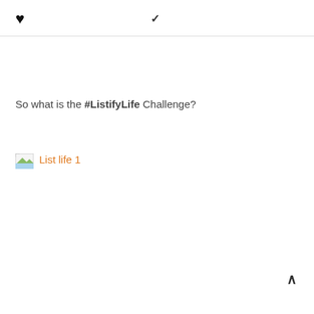♥ ✓
So what is the #ListifyLife Challenge?
[Figure (illustration): Small broken image placeholder icon]
List life 1
^